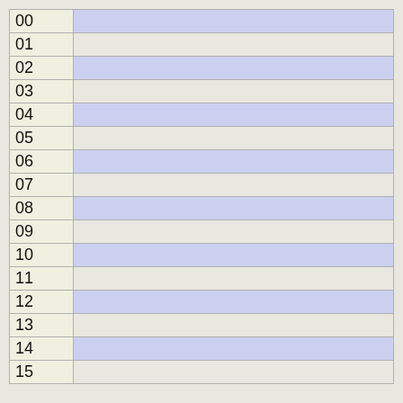| Row | Content |
| --- | --- |
| 00 |  |
| 01 |  |
| 02 |  |
| 03 |  |
| 04 |  |
| 05 |  |
| 06 |  |
| 07 |  |
| 08 |  |
| 09 |  |
| 10 |  |
| 11 |  |
| 12 |  |
| 13 |  |
| 14 |  |
| 15 |  |